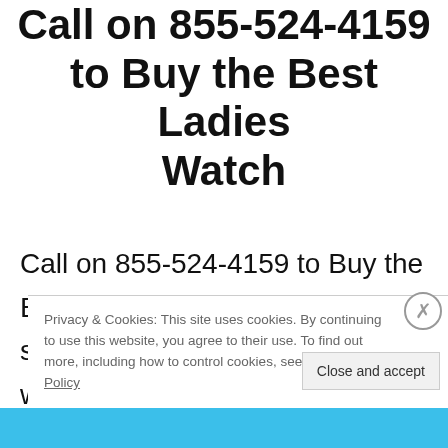Call on 855-524-4159 to Buy the Best Ladies Watch
Call on 855-524-4159 to Buy the Best Ladies Watch While selecting the beautiful ladies watch, you will be able to get ample amount of options and amongst all, choosing the best one is very
Privacy & Cookies: This site uses cookies. By continuing to use this website, you agree to their use. To find out more, including how to control cookies, see here: Cookie Policy
Close and accept